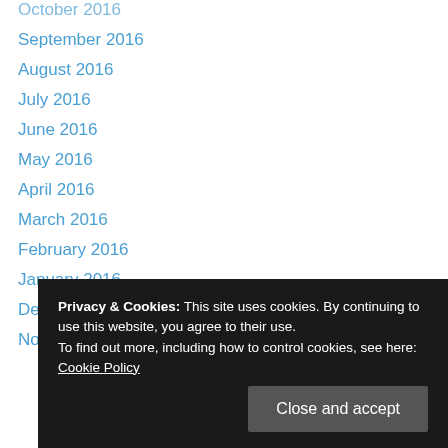October 2016
September 2016
August 2016
July 2016
June 2016
May 2016
April 2016
March 2016
February 2016
January 2016
December 2015
November 2015
October 2015
September 2015
August 2015
March 2015
Privacy & Cookies: This site uses cookies. By continuing to use this website, you agree to their use. To find out more, including how to control cookies, see here: Cookie Policy
Close and accept